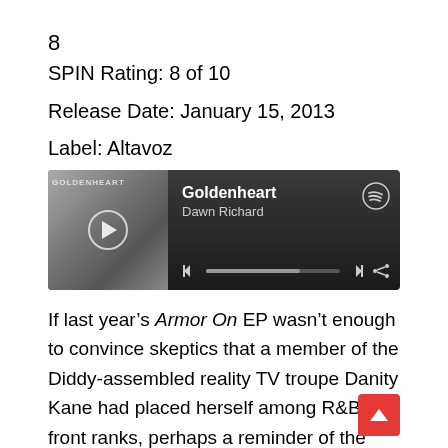8
SPIN Rating: 8 of 10
Release Date: January 15, 2013
Label: Altavoz
[Figure (screenshot): Spotify-style music player widget showing album art for Goldenheart by Dawn Richard, with play button, progress bar, and playback controls on a dark background.]
If last year’s Armor On EP wasn’t enough to convince skeptics that a member of the Diddy-assembled reality TV troupe Danity Kane had placed herself among R&B’s front ranks, perhaps a reminder of the messy paths that artistic self-determination can take is in order. Pop autonomy is often hard-won — consider Stevie Won and Marvin Gaye challenging Berry Gordy’s machine, or